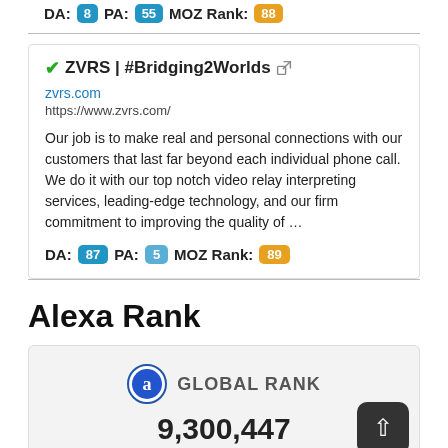DA: 8 PA: 55 MOZ Rank: 88
✓ZVRS | #Bridging2Worlds
zvrs.com
https://www.zvrs.com/
Our job is to make real and personal connections with our customers that last far beyond each individual phone call. We do it with our top notch video relay interpreting services, leading-edge technology, and our firm commitment to improving the quality of …
DA: 87 PA: 5 MOZ Rank: 89
Alexa Rank
[Figure (infographic): Alexa global rank widget showing GLOBAL RANK 9,300,447 with Alexa logo]